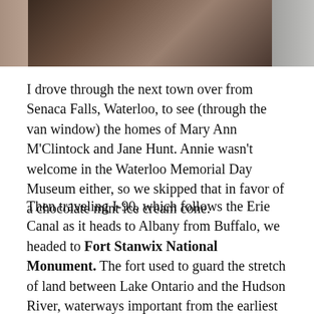[Figure (photo): Partial photo showing what appears to be a dark statue or mannequin figure, with some lighter objects visible on the left and right edges, against a brownish background.]
I drove through the next town over from Senaca Falls, Waterloo, to see (through the van window) the homes of Mary Ann M'Clintock and Jane Hunt. Annie wasn't welcome in the Waterloo Memorial Day Museum either, so we skipped that in favor of a chocolate mint ice cream cone.
Then traveling I-90, which follows the Erie Canal as it heads to Albany from Buffalo, we headed to Fort Stanwix National Monument. The fort used to guard the stretch of land between Lake Ontario and the Hudson River, waterways important from the earliest fur trading days, and even before by the American Indians. Traders used to carry their canoes and other boats from the lake to the